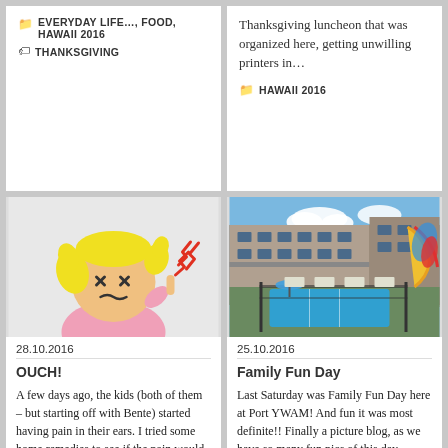EVERYDAY LIFE…, FOOD, HAWAII 2016 | THANKSGIVING
Thanksgiving luncheon that was organized here, getting unwilling printers in… | HAWAII 2016
[Figure (illustration): Cartoon illustration of a blonde girl with X eyes looking angry, holding finger to ear with lightning bolt lines indicating pain or noise]
28.10.2016
OUCH!
A few days ago, the kids (both of them – but starting off with Bente) started having pain in their ears. I tried some home remedies to see if the pain would go away, but it didn't help much
[Figure (photo): Outdoor photo of a motel-style building with a swimming pool and fence in foreground, blue umbrellas, and a colorful inflatable slide on the right side]
25.10.2016
Family Fun Day
Last Saturday was Family Fun Day here at Port YWAM! And fun it was most definite!! Finally a picture blog, as we have so many fun pics of this day. Activities: Arts and Crafts, very serious